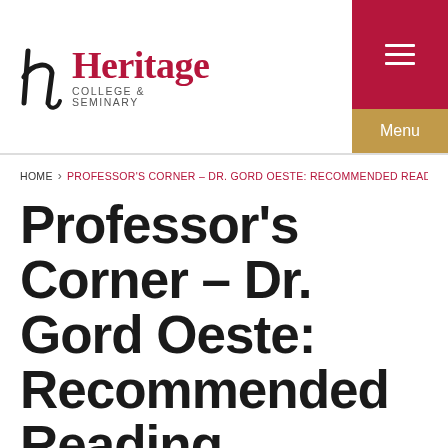Heritage College & Seminary
Home › Professor's Corner – Dr. Gord Oeste: Recommended Reading
Professor's Corner – Dr. Gord Oeste: Recommended Reading
Dr. Gord Oeste, Associate Professor of Old Testament and Hebrew
Recommended Reading:  Christopher J.H. Wright's book, The God I Don't